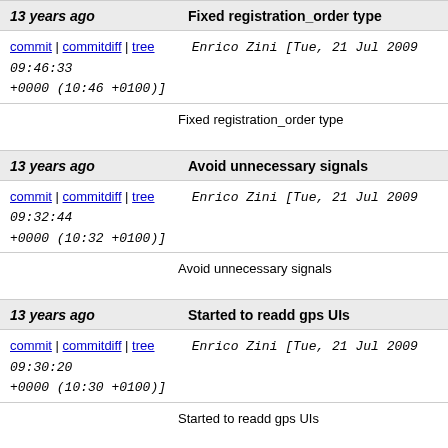13 years ago | Fixed registration_order type | commit | commitdiff | tree | Enrico Zini [Tue, 21 Jul 2009 09:46:33 +0000 (10:46 +0100)] | Fixed registration_order type
13 years ago | Avoid unnecessary signals | commit | commitdiff | tree | Enrico Zini [Tue, 21 Jul 2009 09:32:44 +0000 (10:32 +0100)] | Avoid unnecessary signals
13 years ago | Started to readd gps UIs | commit | commitdiff | tree | Enrico Zini [Tue, 21 Jul 2009 09:30:20 +0000 (10:30 +0100)] | Started to readd gps UIs
13 years ago | Debugged menu workflow | commit | commitdiff | tree | Enrico Zini [Tue, 21 Jul 2009 09:20:56 +0000 (10:20 +0100)] | Debugged menu workflow